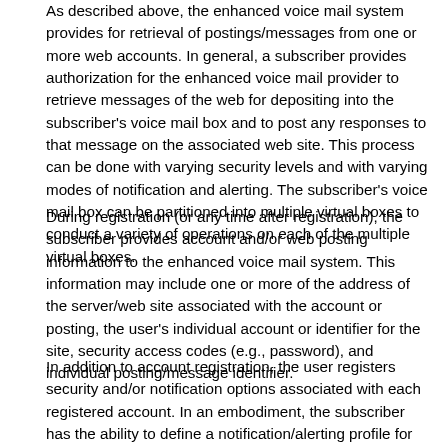As described above, the enhanced voice mail system provides for retrieval of postings/messages from one or more web accounts. In general, a subscriber provides authorization for the enhanced voice mail provider to retrieve messages of the web for depositing into the subscriber's voice mail box and to post any responses to that message on the associated web site. This process can be done with varying security levels and with varying modes of notification and alerting. The subscriber's voice mail box can be partitioned into multiple virtual boxes to conduct a variety of operations on each of the multiple virtual boxes.
During registration (or any time after registration), the subscriber provides account and/or web posting information to the enhanced voice mail system. This information may include one or more of the address of the server/web site associated with the account or posting, the user's individual account or identifier for the site, security access codes (e.g., password), and individual posting/message identifier.
In addition to account registration, the user registers security and/or notification options associated with each registered account. In an embodiment, the subscriber has the ability to define a notification/alerting profile for an account. That is, the subscriber has the ability to set the proper notifications to indicate the deposition or clearance of messages for the subscriber's voice mail box. The notifications can be pre-defined by the enhanced voice mail provider or created or modified by the subscriber. For